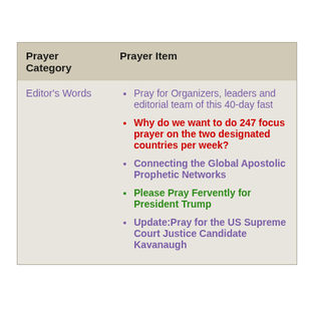| Prayer Category | Prayer Item |
| --- | --- |
| Editor's Words | Pray for Organizers, leaders and editorial team of this 40-day fast | Why do we want to do 247 focus prayer on the two designated countries per week? | Connecting the Global Apostolic Prophetic Networks | Please Pray Fervently for President Trump | Update:Pray for the US Supreme Court Justice Candidate Kavanaugh |